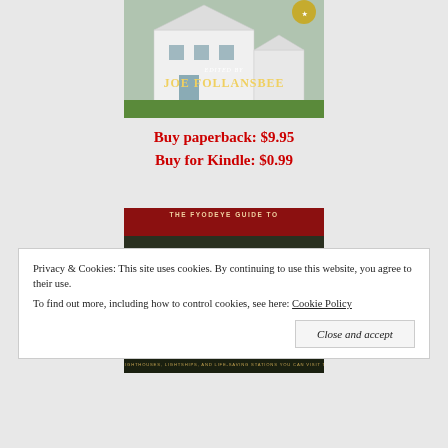[Figure (photo): Top portion of a book cover showing a white house/lighthouse keeper's dwelling with 'EDITED BY JOE FOLLANSBEE' text. A gold seal badge visible in top right corner.]
Buy paperback: $9.95
Buy for Kindle: $0.99
[Figure (photo): Book cover for 'The Fyodye Guide to America's Lighthouses' - dark background with large bold tan/gold text, red header bar, subtitle '750+ Lighthouses, Lightships, and Life-Saving Stations You Can Visit Today']
Privacy & Cookies: This site uses cookies. By continuing to use this website, you agree to their use.
To find out more, including how to control cookies, see here: Cookie Policy
Close and accept